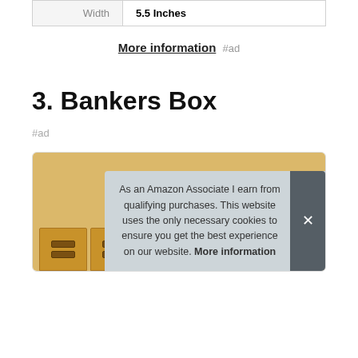|  |  |
| --- | --- |
| Width | 5.5 Inches |
More information #ad
3. Bankers Box
#ad
[Figure (photo): Bankers Box product image showing multiple brown storage boxes]
As an Amazon Associate I earn from qualifying purchases. This website uses the only necessary cookies to ensure you get the best experience on our website. More information